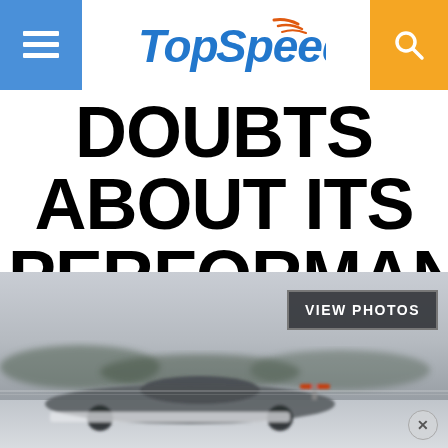TopSpeed
DOUBTS ABOUT ITS PERFORMANCE CAPABILITIES?
[Figure (photo): A low-slung sports/racing car photographed in motion on a track, with blurred background suggesting speed. A 'VIEW PHOTOS' button overlay is visible in the upper right of the image.]